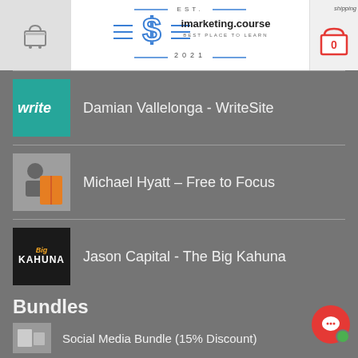[Figure (screenshot): Website header with cart icon on left, imarketing.courses logo in center, shopping bag icon with 0 on right, and shipping text]
Damian Vallelonga - WriteSite
Michael Hyatt – Free to Focus
Jason Capital - The Big Kahuna
Bundles
Social Media Bundle (15% Discount)